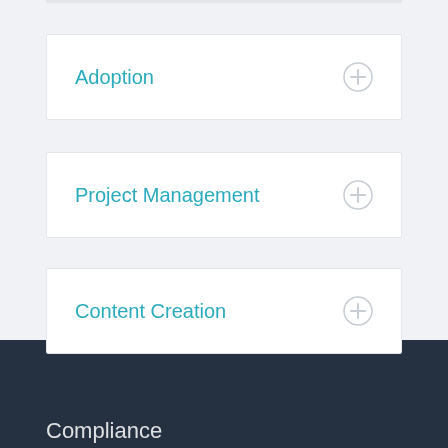Adoption
Project Management
Content Creation
Compliance